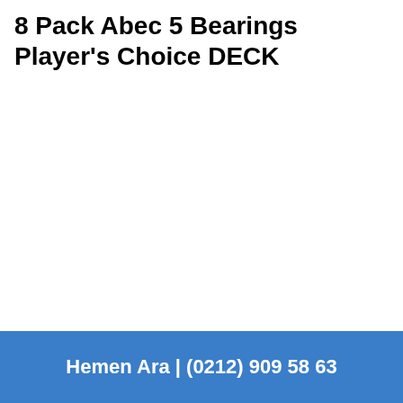8 Pack Abec 5 Bearings Player's Choice DECK
Hemen Ara | (0212) 909 58 63